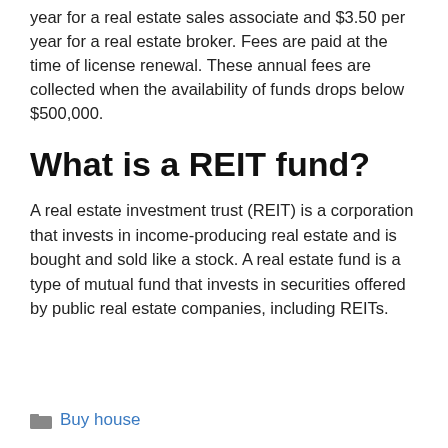year for a real estate sales associate and $3.50 per year for a real estate broker. Fees are paid at the time of license renewal. These annual fees are collected when the availability of funds drops below $500,000.
What is a REIT fund?
A real estate investment trust (REIT) is a corporation that invests in income-producing real estate and is bought and sold like a stock. A real estate fund is a type of mutual fund that invests in securities offered by public real estate companies, including REITs.
Buy house